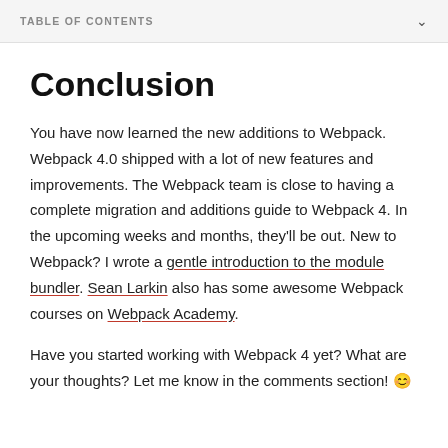TABLE OF CONTENTS
Conclusion
You have now learned the new additions to Webpack. Webpack 4.0 shipped with a lot of new features and improvements. The Webpack team is close to having a complete migration and additions guide to Webpack 4. In the upcoming weeks and months, they'll be out. New to Webpack? I wrote a gentle introduction to the module bundler. Sean Larkin also has some awesome Webpack courses on Webpack Academy.
Have you started working with Webpack 4 yet? What are your thoughts? Let me know in the comments section! 😊